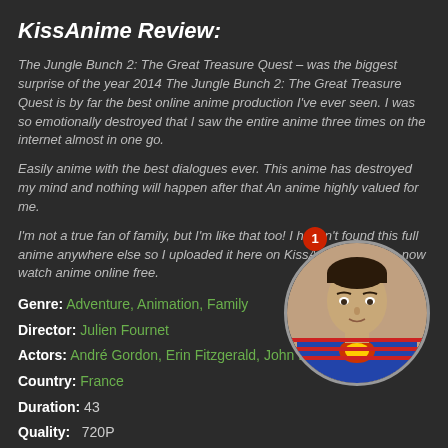KissAnime Review:
The Jungle Bunch 2: The Great Treasure Quest – was the biggest surprise of the year 2014 The Jungle Bunch 2: The Great Treasure Quest is by far the best online anime production I've ever seen. I was so emotionally destroyed that I saw the entire anime three times on the internet almost in one go.
Easily anime with the best dialogues ever. This anime has destroyed my mind and nothing will happen after that An anime highly valued for me.
I'm not a true fan of family, but I'm like that too! I haven't found this full anime anywhere else so I uploaded it here on KissAnime, you can now watch anime online free.
[Figure (photo): Circular portrait photo of a man in a Superman costume, with a red notification badge showing the number 1]
Genre: Adventure, Animation, Family
Director: Julien Fournet
Actors: André Gordon, Erin Fitzgerald, John Lithgo...
Country: France
Duration: 43
Quality: 720P
Release: 2014
IMDb: 6.7
Keywords: #The Jungle Bunch 2: The Great Treasure Quest Watch